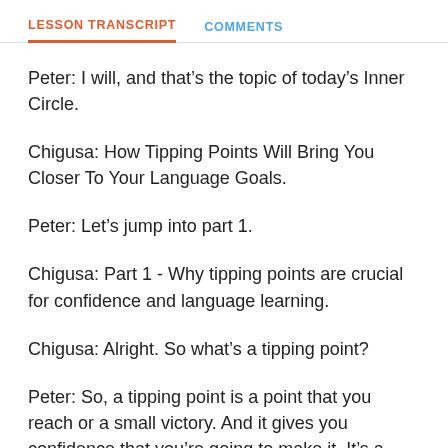LESSON TRANSCRIPT   COMMENTS
Peter: I will, and that’s the topic of today’s Inner Circle.
Chigusa: How Tipping Points Will Bring You Closer To Your Language Goals.
Peter: Let’s jump into part 1.
Chigusa: Part 1 - Why tipping points are crucial for confidence and language learning.
Chigusa: Alright. So what’s a tipping point?
Peter: So, a tipping point is a point that you reach or a small victory. And it gives you confidence that you’re going to make it. It’s a signal that you’re on the right track.